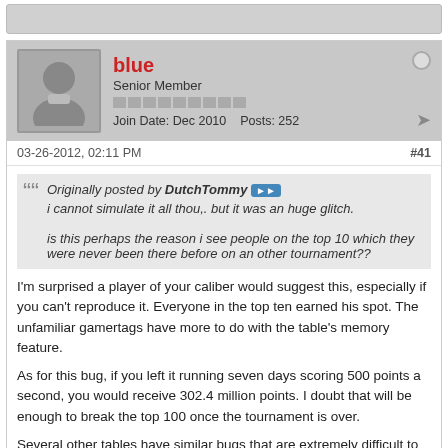[Figure (other): Grey top bar placeholder]
blue
Senior Member
Join Date: Dec 2010  Posts: 252
03-26-2012, 02:11 PM
#41
Originally posted by DutchTommy
i cannot simulate it all thou,. but it was an huge glitch.

is this perhaps the reason i see people on the top 10 which they were never been there before on an other tournament??
I'm surprised a player of your caliber would suggest this, especially if you can't reproduce it. Everyone in the top ten earned his spot. The unfamiliar gamertags have more to do with the table's memory feature.
As for this bug, if you left it running seven days scoring 500 points a second, you would receive 302.4 million points. I doubt that will be enough to break the top 100 once the tournament is over.
Several other tables have similar bugs that are extremely difficult to reproduce. A player may experience them once for every hundred hours on a table. The points gained aren't worth the cost of electricity; it would take several months to break into the top ten.